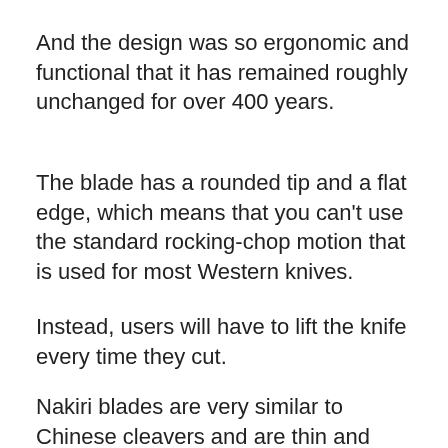And the design was so ergonomic and functional that it has remained roughly unchanged for over 400 years.
The blade has a rounded tip and a flat edge, which means that you can't use the standard rocking-chop motion that is used for most Western knives.
Instead, users will have to lift the knife every time they cut.
Nakiri blades are very similar to Chinese cleavers and are thin and lightweight, making them easy to